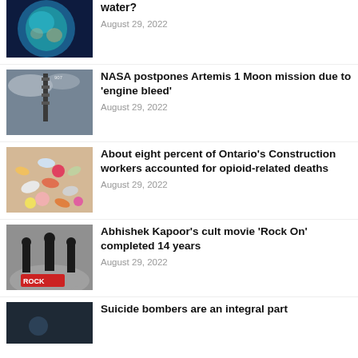[Figure (photo): A planet or celestial body with blue and teal tones (partially cropped at top)]
water?
August 29, 2022
[Figure (photo): NASA rocket on launch pad with cloudy sky]
NASA postpones Artemis 1 Moon mission due to 'engine bleed'
August 29, 2022
[Figure (photo): Colorful assorted pills and capsules scattered on a surface]
About eight percent of Ontario's Construction workers accounted for opioid-related deaths
August 29, 2022
[Figure (photo): People on a street with a Rock On movie logo/stamp visible]
Abhishek Kapoor's cult movie 'Rock On' completed 14 years
August 29, 2022
[Figure (photo): Dark image, partially visible at bottom of page]
Suicide bombers are an integral part